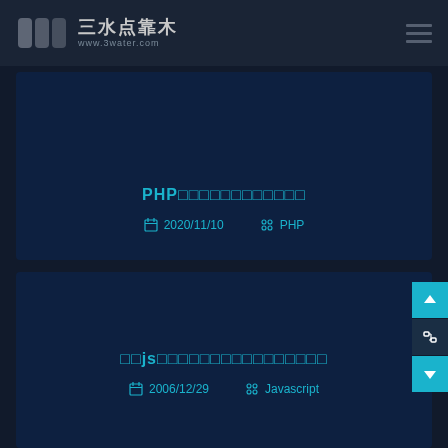三水点靠木 www.3water.com
PHP□□□□□□□□□□□□
2020/11/10  PHP
□□js□□□□□□□□□□□□□□□□
2006/12/29  Javascript